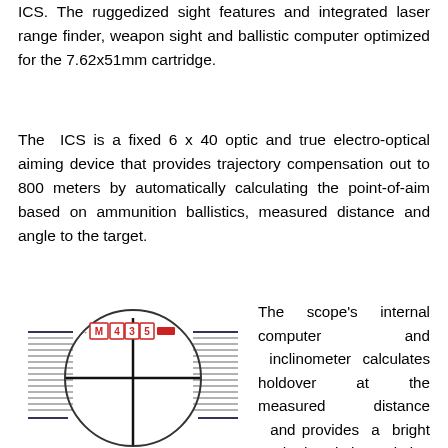ICS. The ruggedized sight features and integrated laser range finder, weapon sight and ballistic computer optimized for the 7.62x51mm cartridge.
The ICS is a fixed 6 x 40 optic and true electro-optical aiming device that provides trajectory compensation out to 800 meters by automatically calculating the point-of-aim based on ammunition ballistics, measured distance and angle to the target.
[Figure (illustration): Cross-sectional view through a rifle scope showing crosshairs centered in circular field of view. A digital display at top shows 'M 4 3 5' with a red indicator. Horizontal stadia lines visible on left and right sides.]
The scope's internal computer and inclinometer calculates holdover at the measured distance and provides a bright red dot aiming solution in seconds – all at the push of a